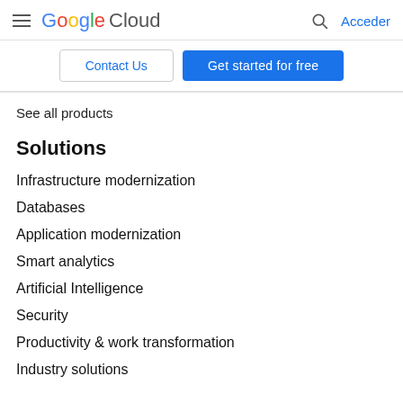Google Cloud — Acceder
Contact Us | Get started for free
See all products
Solutions
Infrastructure modernization
Databases
Application modernization
Smart analytics
Artificial Intelligence
Security
Productivity & work transformation
Industry solutions